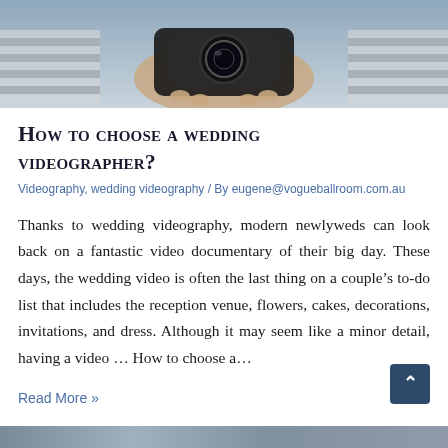[Figure (photo): Close-up photo of a person holding a camera, seen from behind/above, striped clothing visible]
How to choose a wedding videographer?
Videography, wedding videography / By eugene@vogueballroom.com.au
Thanks to wedding videography, modern newlyweds can look back on a fantastic video documentary of their big day. These days, the wedding video is often the last thing on a couple’s to-do list that includes the reception venue, flowers, cakes, decorations, invitations, and dress. Although it may seem like a minor detail, having a video … How to choose a…
Read More »